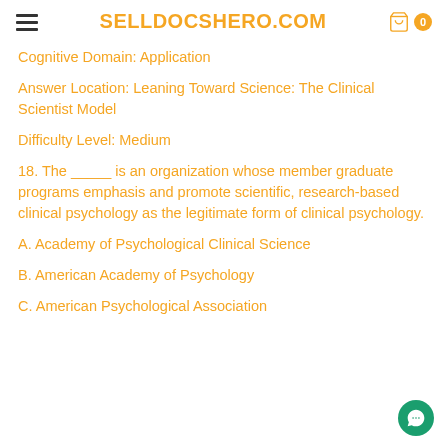SELLDOCSHERO.COM
Cognitive Domain: Application
Answer Location: Leaning Toward Science: The Clinical Scientist Model
Difficulty Level: Medium
18. The _____ is an organization whose member graduate programs emphasis and promote scientific, research-based clinical psychology as the legitimate form of clinical psychology.
A. Academy of Psychological Clinical Science
B. American Academy of Psychology
C. American Psychological Association